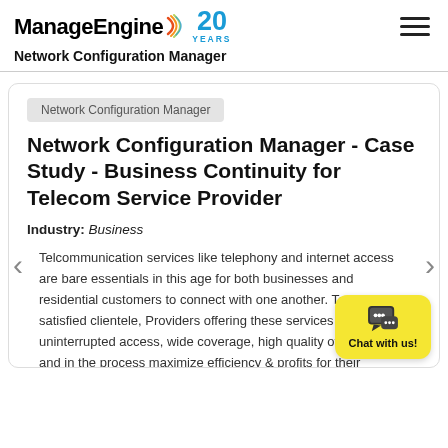ManageEngine  Network Configuration Manager
Network Configuration Manager
Network Configuration Manager - Case Study - Business Continuity for Telecom Service Provider
Industry: Business
Telcommunication services like telephony and internet access are bare essentials in this age for both businesses and residential customers to connect with one another. To enjoy satisfied clientele, Providers offering these services must deliver uninterrupted access, wide coverage, high quality of service, and in the process maximize efficiency & profits for their customers.